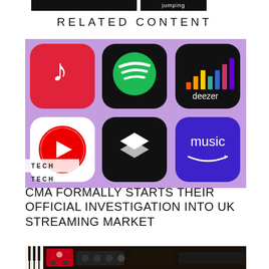[Figure (other): Two dark navigation/button bars at the top of the page]
RELATED CONTENT
[Figure (photo): Collage of music streaming app icons on purple background: Apple Music, Spotify, Deezer (top row), YouTube Music, Tidal, Amazon Music (bottom row)]
TECH
CMA FORMALLY STARTS THEIR OFFICIAL INVESTIGATION INTO UK STREAMING MARKET
[Figure (photo): Photo of music equipment/guitar pedals on a dark surface]